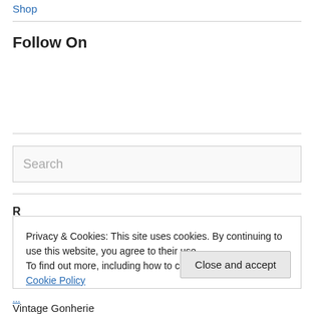Shop
Follow On
Search
Privacy & Cookies: This site uses cookies. By continuing to use this website, you agree to their use.
To find out more, including how to control cookies, see here: Cookie Policy
Close and accept
Vintage Gonherie